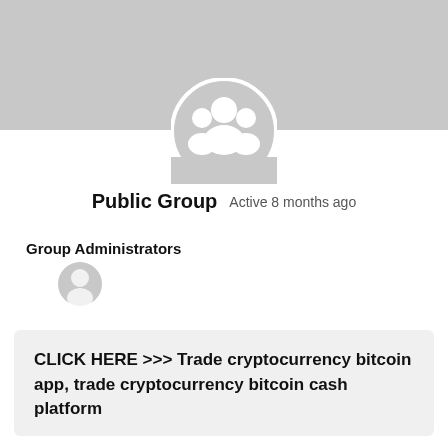[Figure (screenshot): Group cover photo banner - gray placeholder rectangle]
[Figure (illustration): Group avatar circle with three white silhouette figures on gray background]
Public Group   Active 8 months ago
Group Administrators
[Figure (illustration): Single user avatar circle - gray silhouette]
CLICK HERE >>> Trade cryptocurrency bitcoin app, trade cryptocurrency bitcoin cash platform